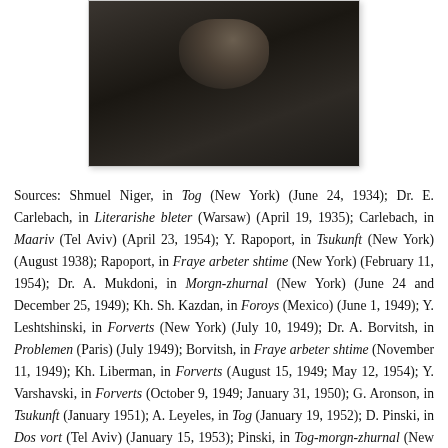[Figure (photo): Black and white photograph of a person in formal attire, dark background]
Sources: Shmuel Niger, in Tog (New York) (June 24, 1934); Dr. E. Carlebach, in Literarishe bleter (Warsaw) (April 19, 1935); Carlebach, in Maariv (Tel Aviv) (April 23, 1954); Y. Rapoport, in Tsukunft (New York) (August 1938); Rapoport, in Fraye arbeter shtime (New York) (February 11, 1954); Dr. A. Mukdoni, in Morgn-zhurnal (New York) (June 24 and December 25, 1949); Kh. Sh. Kazdan, in Foroys (Mexico) (June 1, 1949); Y. Leshtshinski, in Forverts (New York) (July 10, 1949); Dr. A. Borvitsh, in Problemen (Paris) (July 1949); Borvitsh, in Fraye arbeter shtime (November 11, 1949); Kh. Liberman, in Forverts (August 15, 1949; May 12, 1954); Y. Varshavski, in Forverts (October 9, 1949; January 31, 1950); G. Aronson, in Tsukunft (January 1951); A. Leyeles, in Tog (January 19, 1952); D. Pinski, in Dos vort (Tel Aviv) (January 15, 1953); Pinski, in Tog-morgn-zhurnal (New York) (June 8,